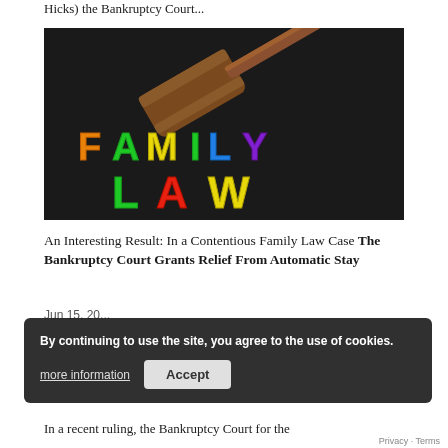Hicks) the Bankruptcy Court...
[Figure (photo): A photo of a wooden judge's gavel on a dark background with colorful foam letters spelling out 'FAMILY LAW' — F in orange, A in green, M in yellow, I in green, L in blue, Y in purple, L in green, A in red/orange, W in yellow.]
An Interesting Result: In a Contentious Family Law Case The Bankruptcy Court Grants Relief From Automatic Stay
Jun 15, 20...
In a recent ruling, the Bankruptcy Court for the
By continuing to use the site, you agree to the use of cookies.
more information
Accept